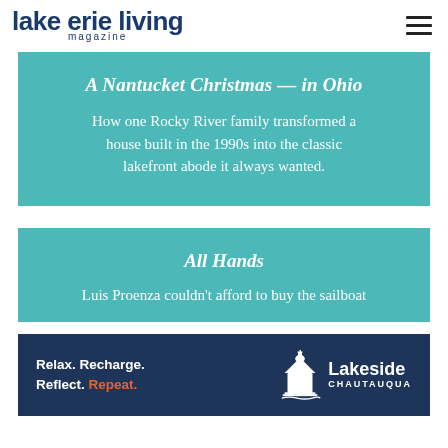lake erie living magazine
A Nantucket Christmas — in Ohio
How one Rocky River family transformed a house built in the 1990s into the classic lakefront abode it always wanted.
All Hands
Luis Proenza couldn't afford to buy the sailboat
[Figure (infographic): Lakeside Chautauqua advertisement banner: 'Relax. Recharge. Reflect. Repeat.' with building logo and Lakeside Chautauqua name]